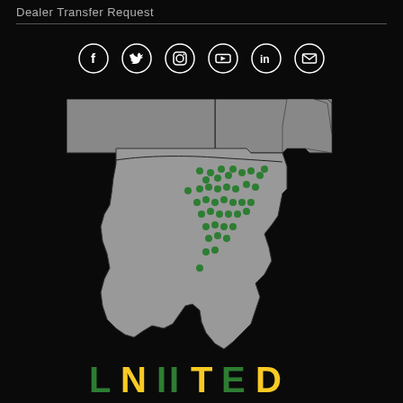Dealer Transfer Request
[Figure (infographic): Six social media icons in circles: Facebook, Twitter, Instagram, YouTube, LinkedIn, Email]
[Figure (map): Gray map of Texas and surrounding states (Oklahoma/Arkansas area) with green dots marking dealer locations concentrated in central/north-central Texas]
[Figure (logo): Partial logo text at bottom, green and yellow letters on black background]